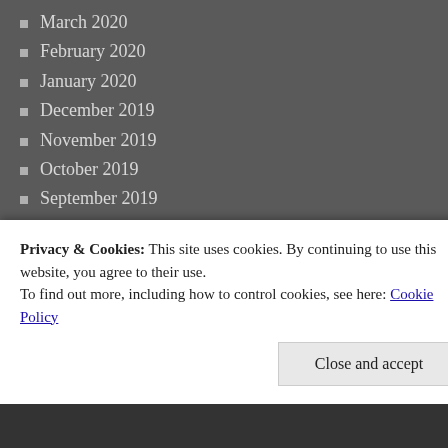March 2020
February 2020
January 2020
December 2019
November 2019
October 2019
September 2019
August 2019
July 2019
May 2019
March 2019
February 2019
January 2019
November 2018
October 2018
August 2018
July 2018
Privacy & Cookies: This site uses cookies. By continuing to use this website, you agree to their use.
To find out more, including how to control cookies, see here: Cookie Policy